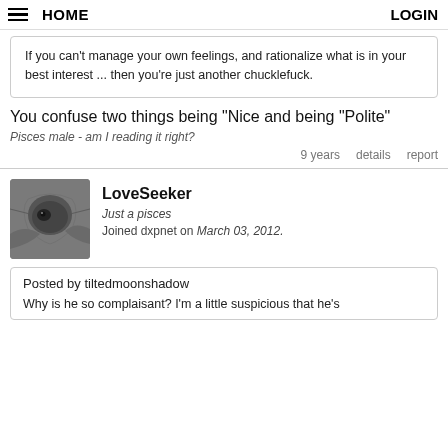HOME   LOGIN
If you can't manage your own feelings, and rationalize what is in your best interest ... then you're just another chucklefuck.
You confuse two things being "Nice and being "Polite"
Pisces male - am I reading it right?
9 years   details   report
LoveSeeker
Just a pisces
Joined dxpnet on March 03, 2012.
Posted by tiltedmoonshadow
Why is he so complaisant? I'm a little suspicious that he's